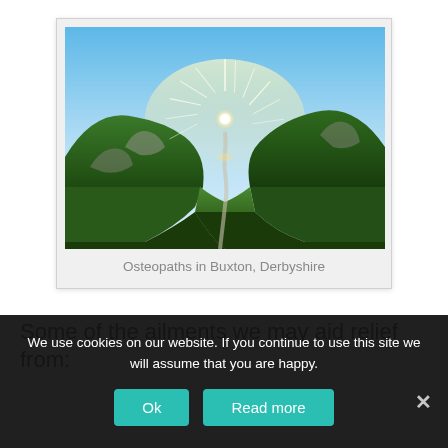[Figure (photo): Aerial landscape photo of a winding road through a green valley between hills with sunburst breaking over the ridge, blue sky above. Card has a light grey border and frame resembling a polaroid.]
Osteopaths in Buxton, Derbyshire
Some of the ailments we may aid relief from:
We use cookies on our website. If you continue to use this site we will assume that you are happy.